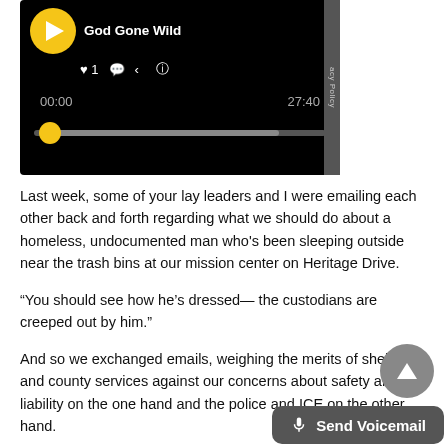[Figure (screenshot): Podcast player UI with dark/black background showing 'God Gone Wild' episode title, play button (yellow circle with white triangle), heart/comment/share/info icons, timestamp 00:00 on left and 27:40 on right, a progress bar with yellow circular scrubber at the start, and a Privacy Policy tab on the right edge.]
Last week, some of your lay leaders and I were emailing each other back and forth regarding what we should do about a homeless, undocumented man who's been sleeping outside near the trash bins at our mission center on Heritage Drive.
“You should see how he’s dressed— the custodians are creeped out by him.”
And so we exchanged emails, weighing the merits of shelters and county services against our concerns about safety and liability on the one hand and the police and ICE on the other hand.
At some point during the Reply All email t[hread, someone who— if you don’t know him— is a wonde[rful person...